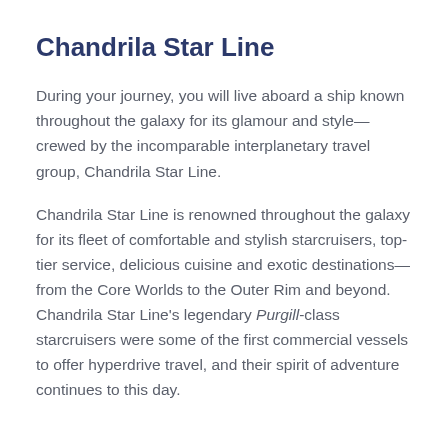Chandrila Star Line
During your journey, you will live aboard a ship known throughout the galaxy for its glamour and style—crewed by the incomparable interplanetary travel group, Chandrila Star Line.
Chandrila Star Line is renowned throughout the galaxy for its fleet of comfortable and stylish starcruisers, top-tier service, delicious cuisine and exotic destinations—from the Core Worlds to the Outer Rim and beyond. Chandrila Star Line's legendary Purgill-class starcruisers were some of the first commercial vessels to offer hyperdrive travel, and their spirit of adventure continues to this day.